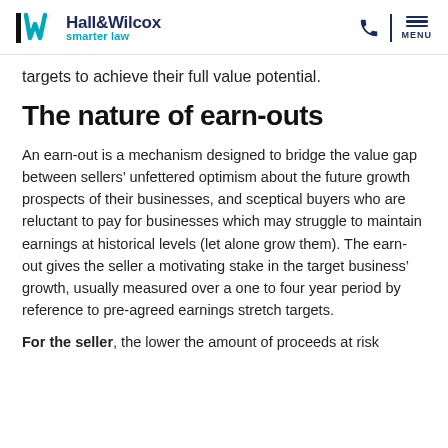Hall&Wilcox smarter law
targets to achieve their full value potential.
The nature of earn-outs
An earn-out is a mechanism designed to bridge the value gap between sellers’ unfettered optimism about the future growth prospects of their businesses, and sceptical buyers who are reluctant to pay for businesses which may struggle to maintain earnings at historical levels (let alone grow them). The earn-out gives the seller a motivating stake in the target business’ growth, usually measured over a one to four year period by reference to pre-agreed earnings stretch targets.
For the seller, the lower the amount of proceeds at risk